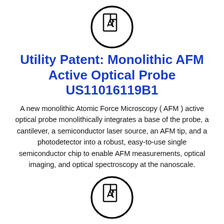[Figure (logo): PDF document icon inside a circle, top of page]
Utility Patent: Monolithic AFM Active Optical Probe US11016119B1
A new monolithic Atomic Force Microscopy ( AFM ) active optical probe monolithically integrates a base of the probe, a cantilever, a semiconductor laser source, an AFM tip, and a photodetector into a robust, easy-to-use single semiconductor chip to enable AFM measurements, optical imaging, and optical spectroscopy at the nanoscale.
[Figure (logo): PDF document icon inside a circle, bottom of page (partially cropped)]